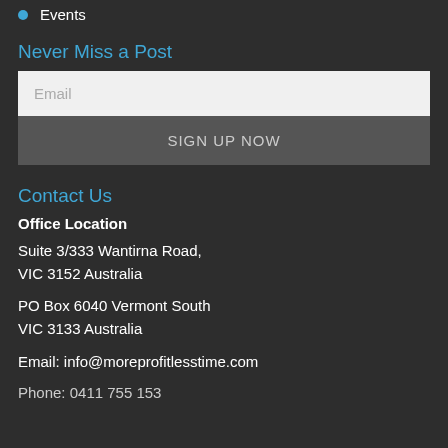Events
Never Miss a Post
Email
SIGN UP NOW
Contact Us
Office Location
Suite 3/333 Wantirna Road,
VIC 3152 Australia
PO Box 6040 Vermont South
VIC 3133 Australia
Email: info@moreprofitlesstime.com
Phone: 0411 755 153